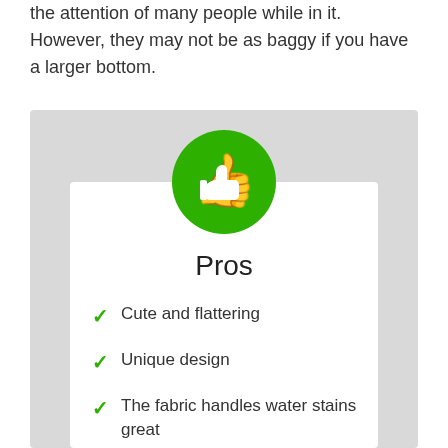the attention of many people while in it. However, they may not be as baggy if you have a larger bottom.
[Figure (infographic): Green circle with white thumbs-up icon above a white card labeled Pros with green checkmark list items: Cute and flattering, Unique design, The fabric handles water stains great, Lightweight]
Pros
Cute and flattering
Unique design
The fabric handles water stains great
Lightweight